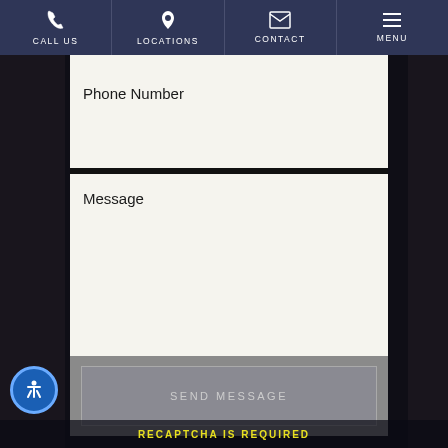CALL US | LOCATIONS | CONTACT | MENU
Phone Number
Message
SEND MESSAGE
RECAPTCHA IS REQUIRED